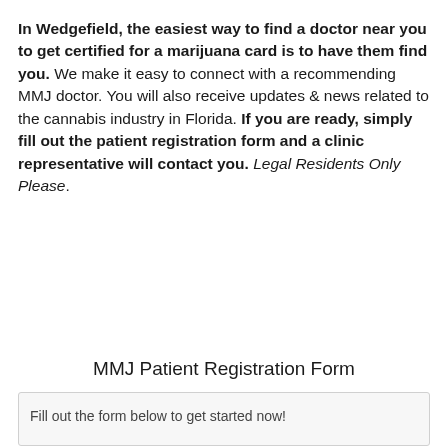In Wedgefield, the easiest way to find a doctor near you to get certified for a marijuana card is to have them find you. We make it easy to connect with a recommending MMJ doctor. You will also receive updates & news related to the cannabis industry in Florida. If you are ready, simply fill out the patient registration form and a clinic representative will contact you. Legal Residents Only Please.
MMJ Patient Registration Form
Fill out the form below to get started now!